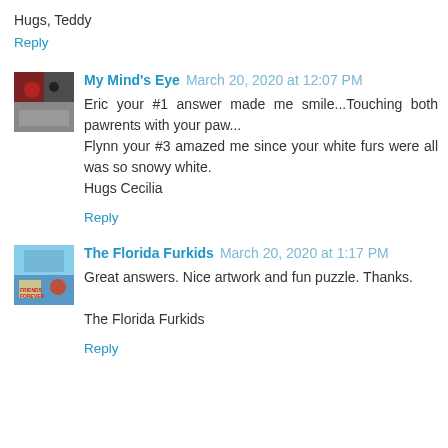Hugs, Teddy
Reply
My Mind's Eye  March 20, 2020 at 12:07 PM
Eric your #1 answer made me smile...Touching both pawrents with your paw...
Flynn your #3 amazed me since your white furs were all was so snowy white.
Hugs Cecilia
Reply
The Florida Furkids  March 20, 2020 at 1:17 PM
Great answers. Nice artwork and fun puzzle. Thanks.

The Florida Furkids
Reply